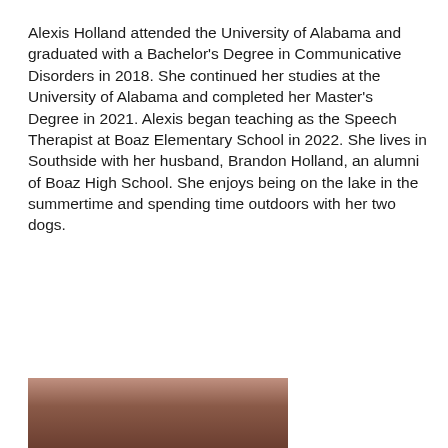Alexis Holland attended the University of Alabama and graduated with a Bachelor's Degree in Communicative Disorders in 2018. She continued her studies at the University of Alabama and completed her Master's Degree in 2021. Alexis began teaching as the Speech Therapist at Boaz Elementary School in 2022. She lives in Southside with her husband, Brandon Holland, an alumni of Boaz High School. She enjoys being on the lake in the summertime and spending time outdoors with her two dogs.
[Figure (photo): Partial photo visible at the bottom of the page, showing the top of a person's head with dark/brown hair.]